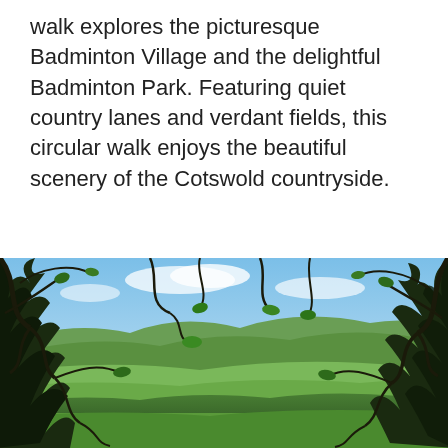walk explores the picturesque Badminton Village and the delightful Badminton Park. Featuring quiet country lanes and verdant fields, this circular walk enjoys the beautiful scenery of the Cotswold countryside.
[Figure (photo): A landscape photo viewed through tree branches showing green rolling hills, fields, and blue sky with light clouds — Cotswold countryside scenery.]